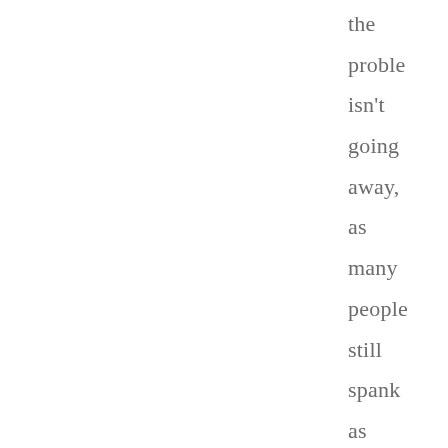the problem isn't going away, as many people still spank as ever, pretty much, as you can see